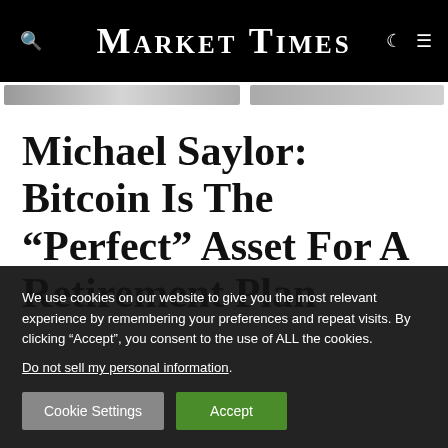Market Times
Michael Saylor: Bitcoin Is The “Perfect” Asset For A Retirement Plan
We use cookies on our website to give you the most relevant experience by remembering your preferences and repeat visits. By clicking “Accept”, you consent to the use of ALL the cookies. Do not sell my personal information.